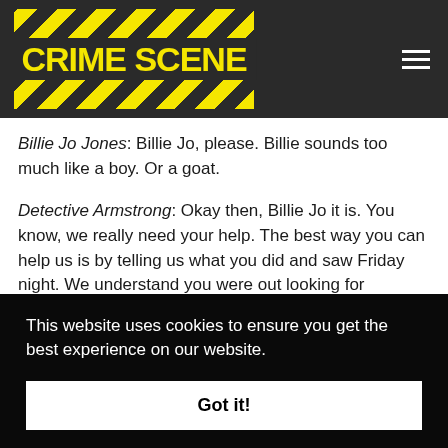[Figure (logo): Crime Scene logo with yellow and black hazard stripes background and yellow text on dark block reading CRIME SCENE]
Billie Jo Jones: Billie Jo, please. Billie sounds too much like a boy. Or a goat.
Detective Armstrong: Okay then, Billie Jo it is. You know, we really need your help. The best way you can help us is by telling us what you did and saw Friday night. We understand you were out looking for autographs late that night.
This website uses cookies to ensure you get the best experience on our website.
Got it!